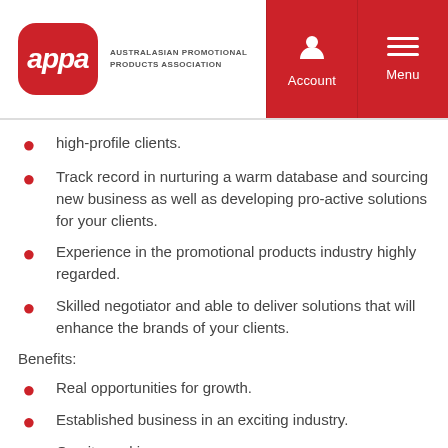appa AUSTRALASIAN PROMOTIONAL PRODUCTS ASSOCIATION | Account | Menu
high-profile clients.
Track record in nurturing a warm database and sourcing new business as well as developing pro-active solutions for your clients.
Experience in the promotional products industry highly regarded.
Skilled negotiator and able to deliver solutions that will enhance the brands of your clients.
Benefits:
Real opportunities for growth.
Established business in an exciting industry.
On site parking.